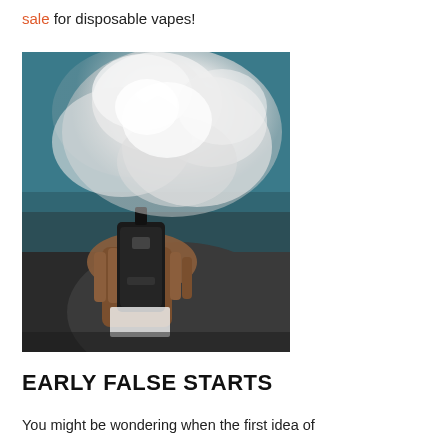sale for disposable vapes!
[Figure (photo): A person holding a black vape/pod mod device, exhaling a large cloud of vapor that obscures their face. The background shows a teal/dark wall.]
EARLY FALSE STARTS
You might be wondering when the first idea of